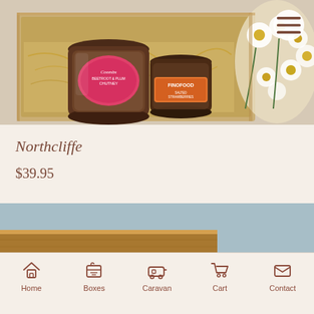[Figure (photo): Product photo of a gift box containing jars of condiments (Coombs beetroot & plum chutney with pink label, Fino Food jar with orange label) surrounded by straw packing material and white/yellow flowers, shown from above. Menu hamburger button visible top right.]
Northcliffe
$39.95
[Figure (photo): Partial product photo showing a wooden board or tray edge against a blue-grey background.]
Home  Boxes  Caravan  Cart  Contact